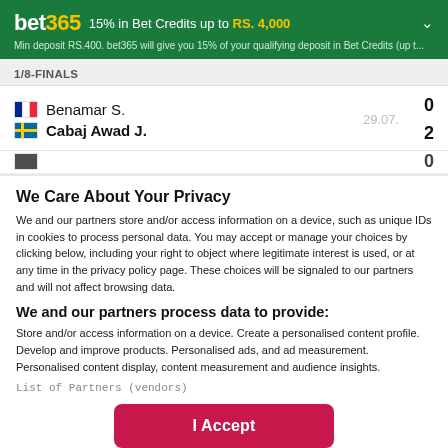[Figure (screenshot): bet365 advertisement banner: '15% in Bet Credits up to RS. 4,000'. Sub-text: 'Min deposit RS.400. bet365 will give you 15% of your qualifying deposit in Bet Credits (up t...']
1/8-FINALS
| Player | Date | Score |
| --- | --- | --- |
| Benamar S. (France) | 29.07. | 0 |
| Cabaj Awad J. (Sweden) |  | 2 |
We Care About Your Privacy
We and our partners store and/or access information on a device, such as unique IDs in cookies to process personal data. You may accept or manage your choices by clicking below, including your right to object where legitimate interest is used, or at any time in the privacy policy page. These choices will be signaled to our partners and will not affect browsing data.
We and our partners process data to provide:
Store and/or access information on a device. Create a personalised content profile. Develop and improve products. Personalised ads, and ad measurement. Personalised content display, content measurement and audience insights.
List of Partners (vendors)
I Accept
Show Purposes